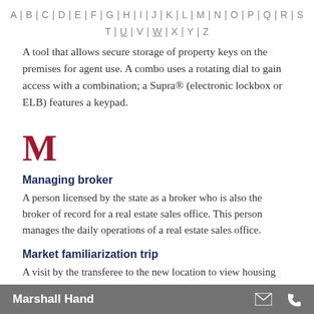A | B | C | D | E | F | G | H | I | J | K | L | M | N | O | P | Q | R | S
T | U | V | W | X | Y | Z
A tool that allows secure storage of property keys on the premises for agent use. A combo uses a rotating dial to gain access with a combination; a Supra® (electronic lockbox or ELB) features a keypad.
M
Managing broker
A person licensed by the state as a broker who is also the broker of record for a real estate sales office. This person manages the daily operations of a real estate sales office.
Market familiarization trip
A visit by the transferee to the new location to view housing.
Marshall Hand